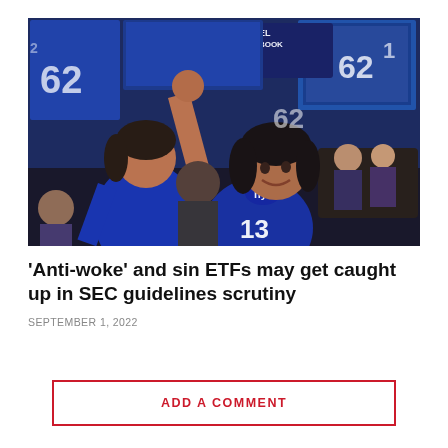[Figure (photo): People celebrating at a FanDuel Sportsbook venue, wearing New York Giants NFL jerseys, with multiple TV screens showing sports in the background. Two women in blue Giants jerseys are reacting excitedly.]
‘Anti-woke’ and sin ETFs may get caught up in SEC guidelines scrutiny
SEPTEMBER 1, 2022